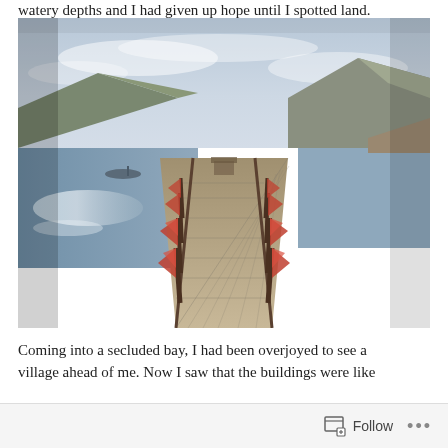watery depths and I had given up hope until I spotted land.
[Figure (photo): A wooden pier or dock extending out over calm water, decorated with orange and red flags on wooden poles along both sides. Mountains and calm lake water visible in background. Perspective shot looking down the length of the pier. Low light, hazy sky.]
Coming into a secluded bay, I had been overjoyed to see a village ahead of me. Now I saw that the buildings were like
Follow ...